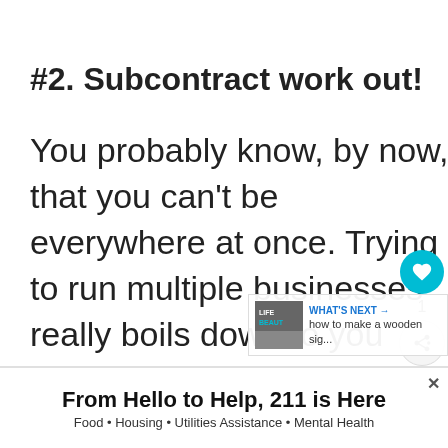#2. Subcontract work out!
You probably know, by now, that you can't be everywhere at once. Trying to run multiple businesses really boils down to you subcontracting some... o. The...
[Figure (infographic): Social action panel with heart/like button (teal circle with heart icon), count '1', and share button]
[Figure (infographic): What's Next widget showing thumbnail image with text 'WHAT'S NEXT → how to make a wooden sig...']
From Hello to Help, 211 is Here
Food • Housing • Utilities Assistance • Mental Health